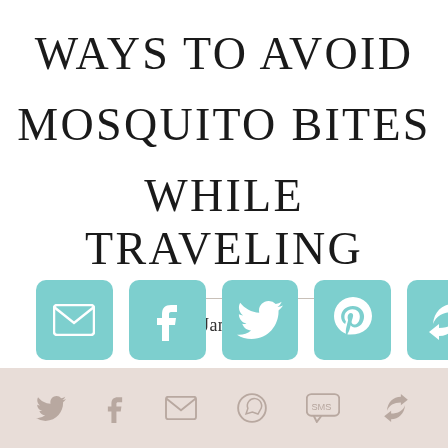WAYS TO AVOID MOSQUITO BITES WHILE TRAVELING
21 Jan 2020
[Figure (infographic): Five teal rounded square social share buttons: email (envelope icon), Facebook (f icon), Twitter (bird icon), Pinterest (P icon), and a share/loop icon]
[Figure (infographic): Bottom footer bar with six social/share icons in muted beige-pink color: Twitter bird, Facebook f, email envelope, WhatsApp, SMS speech bubble, and share/loop icon]